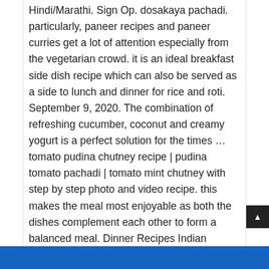Hindi/Marathi. Sign Op. dosakaya pachadi. particularly, paneer recipes and paneer curries get a lot of attention especially from the vegetarian crowd. it is an ideal breakfast side dish recipe which can also be served as a side to lunch and dinner for rice and roti. September 9, 2020. The combination of refreshing cucumber, coconut and creamy yogurt is a perfect solution for the times … tomato pudina chutney recipe | pudina tomato pachadi | tomato mint chutney with step by step photo and video recipe. this makes the meal most enjoyable as both the dishes complement each other to form a balanced meal. Dinner Recipes Indian Courses Easy Healthy Family Ideas . In this recipe post, I have shared two methods of making it. it includes recipes like coconut chutney, beetroot chutney, palak chutney, idli chutney, dosa chutney, bombay chutney and curry leaves chutney. This mango pachadi definitely is a spicy one as we need to add lots of red chilli powder which actually gives out a